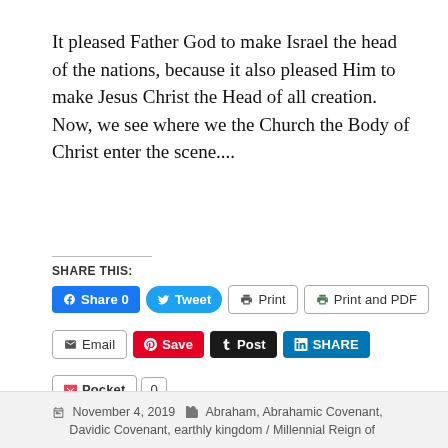It pleased Father God to make Israel the head of the nations, because it also pleased Him to make Jesus Christ the Head of all creation. Now, we see where we the Church the Body of Christ enter the scene....
SHARE THIS:
[Figure (screenshot): Social sharing buttons row 1: Facebook Share 0, Tweet, Print, Print and PDF]
[Figure (screenshot): Social sharing buttons row 2: Email, Save (Pinterest), Post (Tumblr), SHARE (LinkedIn)]
[Figure (screenshot): Social sharing buttons row 3: Pocket, 0 count]
[Figure (screenshot): Like button and blogger avatar thumbnail]
One blogger likes this.
November 4, 2019  Abraham, Abrahamic Covenant, Davidic Covenant, earthly kingdom / Millennial Reign of